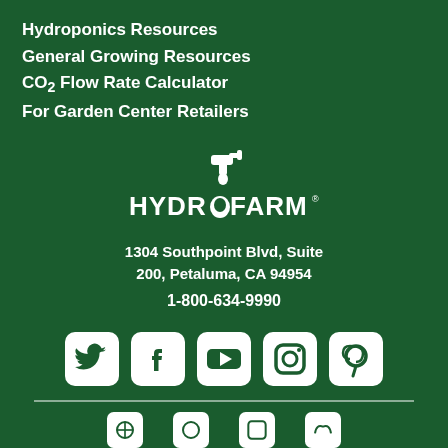Hydroponics Resources
General Growing Resources
CO₂ Flow Rate Calculator
For Garden Center Retailers
[Figure (logo): Hydrofarm logo with faucet/water drop icon and HYDROFARM text with registered trademark symbol]
1304 Southpoint Blvd, Suite 200, Petaluma, CA 94954
1-800-634-9990
[Figure (infographic): Row of social media icons: Twitter, Facebook, YouTube, Instagram, Pinterest in white rounded squares on dark green background, followed by a divider line and a second partial row of social media icons]